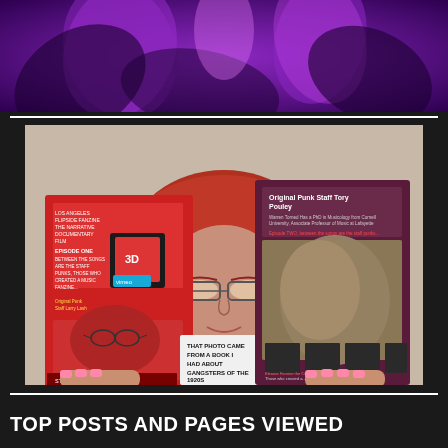[Figure (photo): Top banner image showing purple/violet flowers or decorative background with dark tones]
[Figure (photo): Woman with red hair holding up two punk fanzine covers. Left cover is red with text about Los Angeles Flipside Fanzine documentary film Episode One, Between the Songs are the Staff Punks, Original Punk Staff Larry Lash, Steven Shoemaker. White text box reads 'THAT PHOTO CAME FROM A BOOK I HAD ABOUT GANGSTERS OF THE 1920S'. Right cover is dark maroon with text 'Original Punk Staff Tory Pouley' and additional text about Episode 2, between the songs are the staff punks.]
TOP POSTS AND PAGES VIEWED